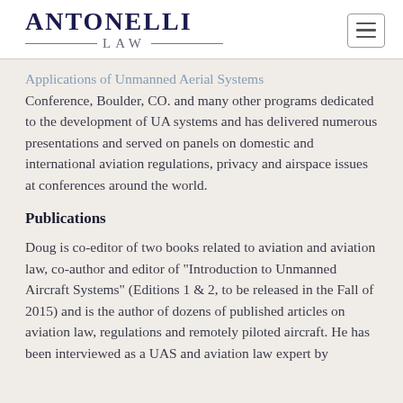ANTONELLI LAW
Applications of Unmanned Aerial Systems Conference, Boulder, CO. and many other programs dedicated to the development of UA systems and has delivered numerous presentations and served on panels on domestic and international aviation regulations, privacy and airspace issues at conferences around the world.
Publications
Doug is co-editor of two books related to aviation and aviation law, co-author and editor of “Introduction to Unmanned Aircraft Systems” (Editions 1 & 2, to be released in the Fall of 2015) and is the author of dozens of published articles on aviation law, regulations and remotely piloted aircraft. He has been interviewed as a UAS and aviation law expert by